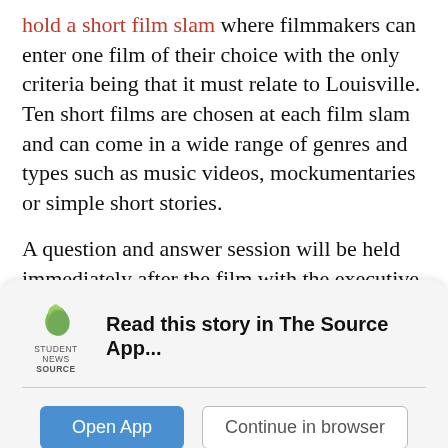hold a short film slam where filmmakers can enter one film of their choice with the only criteria being that it must relate to Louisville. Ten short films are chosen at each film slam and can come in a wide range of genres and types such as music videos, mockumentaries or simple short stories.
A question and answer session will be held immediately after the film with the executive director of the LFS, Soozie Eastman. The event is recommended for ages 16 and older, but there are no official restrictions. Click here to buy tickets to the event.
Read this story in The Source App...
Open App
Continue in browser